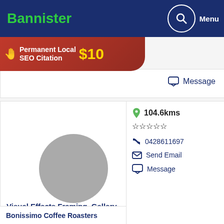Bannister
[Figure (infographic): Red banner ad: Permanent Local SEO Citation $10]
Message
104.6kms
0428611697
Send Email
Message
Visual Effects Framing, Gallery and Coffee Shop
107.3kms
0892013555
Send Email
Visit Website
Bonissimo Coffee Roasters